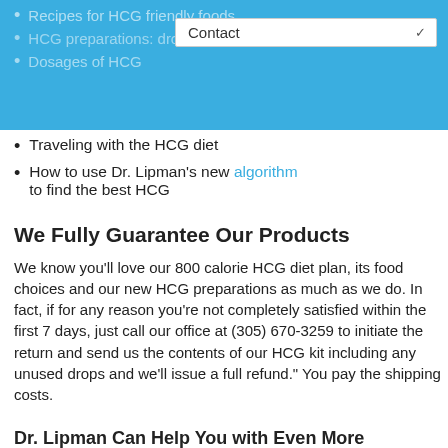Recipes for HCG friendly foods
HCG preparations: drops vs. shots
Dosages of HCG
Traveling with the HCG diet
How to use Dr. Lipman's new algorithm to find the best HCG
We Fully Guarantee Our Products
We know you'll love our 800 calorie HCG diet plan, its food choices and our new HCG preparations as much as we do. In fact, if for any reason you're not completely satisfied within the first 7 days, just call our office at (305) 670-3259 to initiate the return and send us the contents of our HCG kit including any unused drops and we'll issue a full refund." You pay the shipping costs.
Dr. Lipman Can Help You with Even More Personal Questions:
Why am I always hungry?
Why am I not losing weight?